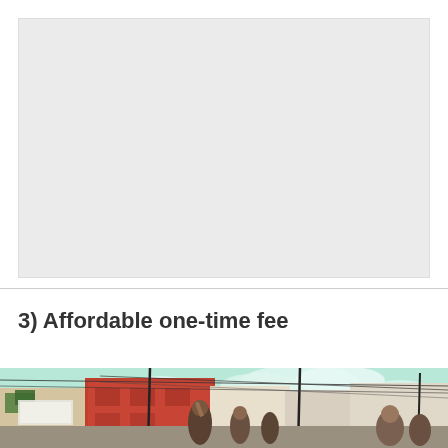[Figure (other): Light gray placeholder rectangle representing an image area]
3) Affordable one-time fee
[Figure (photo): Street scene photograph showing buildings including a red building, power lines, and people, with a bright sky]